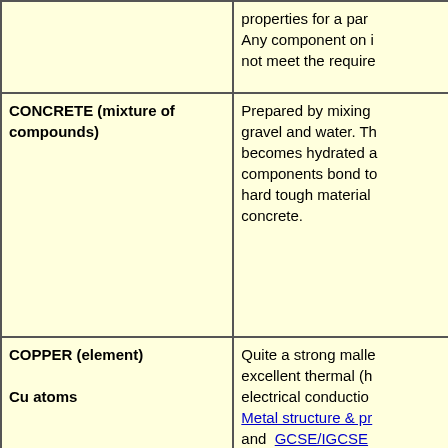|  | properties for a par... Any component on i... not meet the require... |
| CONCRETE (mixture of compounds) | Prepared by mixing gravel and water. Th... becomes hydrated a... components bond to... hard tough material... concrete. |
| COPPER (element)

Cu atoms | Quite a strong malle... excellent thermal (h... electrical conductio... Metal structure & pr... and GCSE/IGCSE... Transition Metals ar... Level 3d-block Tran... Notes |
| COPPER(II) SULPHATE (compound)

CuSO4 or

Cu2+SO42- | An ionic compound... sulfate ions. Anhydr... sulphate is white, bu... encounter it as the h... crystals containing w... crystallisation of for... |